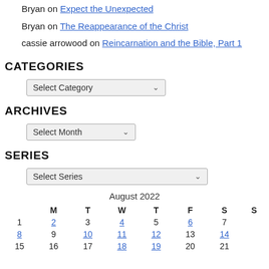Bryan on Expect the Unexpected
Bryan on The Reappearance of the Christ
cassie arrowood on Reincarnation and the Bible, Part 1
CATEGORIES
Select Category
ARCHIVES
Select Month
SERIES
Select Series
|  | M | T | W | T | F | S | S |
| --- | --- | --- | --- | --- | --- | --- | --- |
| August 2022 |  |  |  |  |  |  |  |
| 1 | 2 | 3 | 4 | 5 | 6 | 7 |  |
| 8 | 9 | 10 | 11 | 12 | 13 | 14 |  |
| 15 | 16 | 17 | 18 | 19 | 20 | 21 |  |